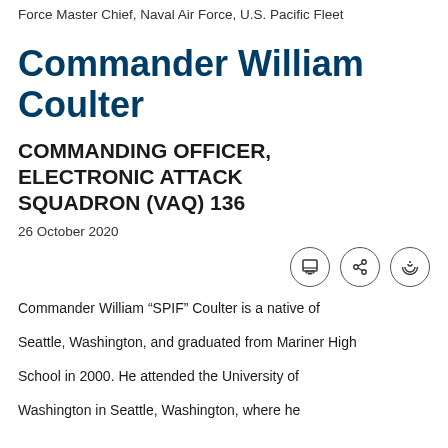Force Master Chief, Naval Air Force, U.S. Pacific Fleet
Commander William Coulter
COMMANDING OFFICER, ELECTRONIC ATTACK SQUADRON (VAQ) 136
26 October 2020
Commander William “SPIF” Coulter is a native of Seattle, Washington, and graduated from Mariner High School in 2000. He attended the University of Washington in Seattle, Washington, where he